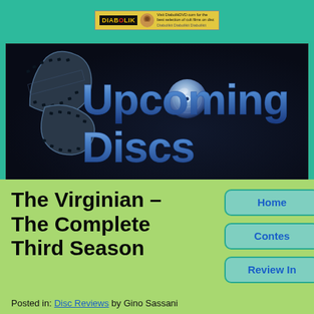[Figure (illustration): Diabolik DVD advertisement banner with logo, face graphic, and text: 'Visit DiabolikDVD.com for the best selection of cult films on disc']
[Figure (logo): Upcoming Discs website logo on dark background — stylized text 'Upcoming Discs' in blue with film reel and DVD disc graphic]
The Virginian – The Complete Third Season
Posted in: Disc Reviews by Gino Sassani
Home
Contes
Review In